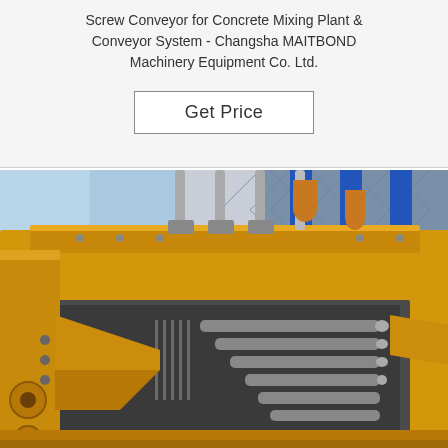Screw Conveyor for Concrete Mixing Plant & Conveyor System - Changsha MAITBOND Machinery Equipment Co. Ltd.
Get Price
[Figure (photo): Close-up photograph of yellow industrial machinery components — a conveyor or concrete mixing plant mechanism showing metal rollers, shafts, structural frames in yellow paint, with blue structural elements and mesh visible in the background.]